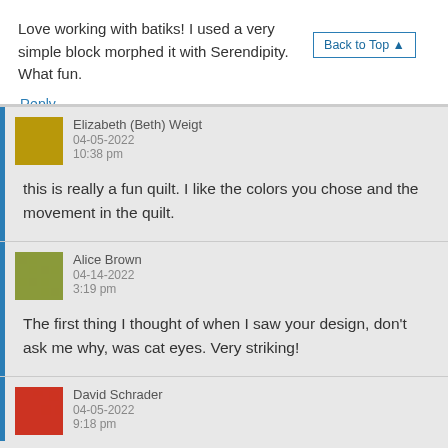Love working with batiks! I used a very simple block morphed it with Serendipity. What fun.
Back to Top ▲
Reply
Elizabeth (Beth) Weigt
04-05-2022
10:38 pm
this is really a fun quilt. I like the colors you chose and the movement in the quilt.
Alice Brown
04-14-2022
3:19 pm
The first thing I thought of when I saw your design, don't ask me why, was cat eyes. Very striking!
David Schrader
04-05-2022
9:18 pm